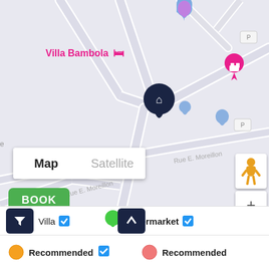[Figure (screenshot): Google Maps screenshot showing a street map with location pins near Villa Bambola. Multiple blue teardrop pins and a large dark navy home pin are visible. Roads include Rue E. Moreillon. Map controls show street view pegman, zoom in/out buttons. Map/Satellite toggle visible. Scale bar shows 50m.]
Villa Bambola
Map
Satellite
Keyboard shortcuts  Map data ©2022  50 m  Terms of Use
BOOK
Villa ✓
Supermarket ✓
Recommended
Recommended